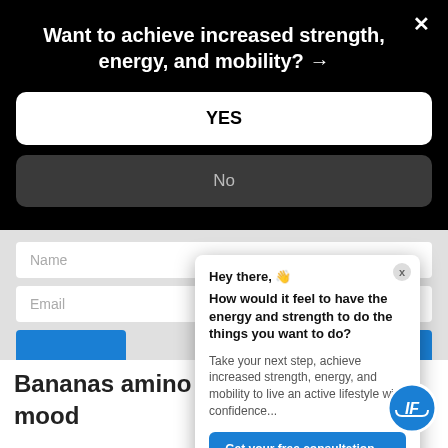Want to achieve increased strength, energy, and mobility? →
YES
No
Name
Email
Hey there, 👋
How would it feel to have the energy and strength to do the things you want to do?
Take your next step, achieve increased strength, energy, and mobility to live an active lifestyle with confidence...
Get your free consultation →
Bananas amino ac role in pr your mood